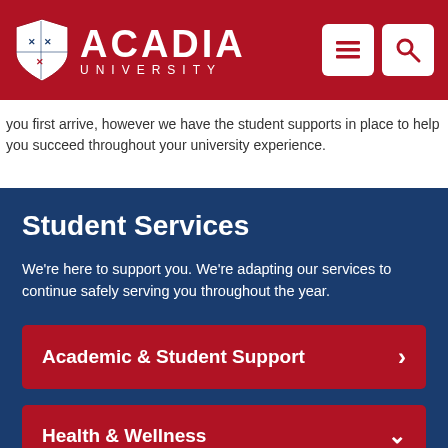ACADIA UNIVERSITY
you first arrive, however we have the student supports in place to help you succeed throughout your university experience.
Student Services
We're here to support you. We're adapting our services to continue safely serving you throughout the year.
Academic & Student Support
Health & Wellness